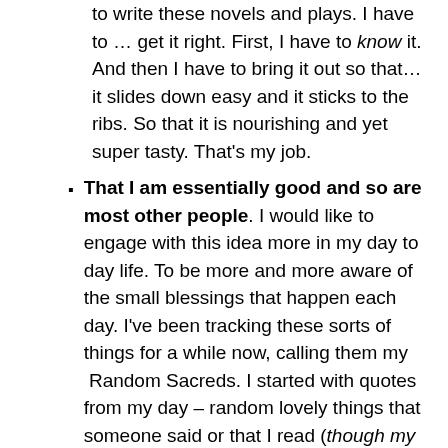to write these novels and plays.  I have to … get it right.  First, I have to know it. And then I have to bring it out so that… it slides down easy and it sticks to the ribs.  So that it is nourishing and yet super tasty.  That's my job.
That I am essentially good and so are most other people.  I would like to engage with this idea more in my day to day life.  To be more and more aware of the small blessings that happen each day.  I've been tracking these sorts of things for a while now, calling them my  Random Sacreds.  I started with quotes from my day – random lovely things that someone said or that I read (though my faves where the things I heard from folks in the everyday). These morphed to include…moments, small gifts of kindnesses given and received.  I record them every night now in my digi-chickens and my 5 year diary.